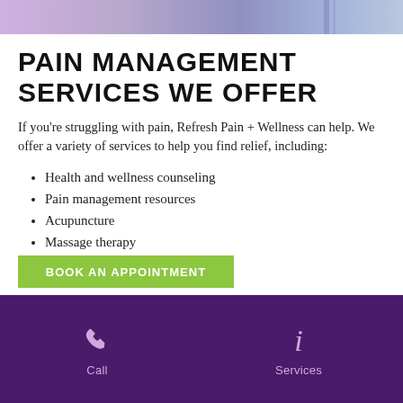[Figure (photo): Top banner image showing a medical/wellness scene with purple and blue tones]
PAIN MANAGEMENT SERVICES WE OFFER
If you're struggling with pain, Refresh Pain + Wellness can help. We offer a variety of services to help you find relief, including:
Health and wellness counseling
Pain management resources
Acupuncture
Massage therapy
And more!
BOOK AN APPOINTMENT
Call   Services